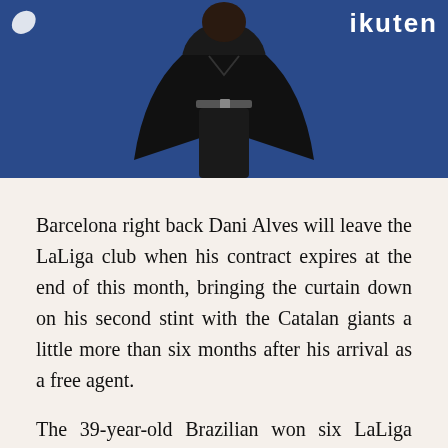[Figure (photo): Photo of Dani Alves standing in front of a blue FC Barcelona/Rakuten sponsor backdrop, wearing a black outfit with a belt. Rakuten logo visible in the background.]
Barcelona right back Dani Alves will leave the LaLiga club when his contract expires at the end of this month, bringing the curtain down on his second stint with the Catalan giants a little more than six months after his arrival as a free agent.
The 39-year-old Brazilian won six LaLiga titles and three Champions League crowns in his first spell with Barca from 2008-16.